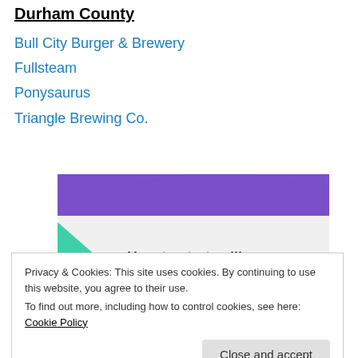Durham County
Bull City Burger & Brewery
Fullsteam
Ponysaurus
Triangle Brewing Co.
[Figure (screenshot): A promotional graphic with purple and teal/cyan decorative shapes on a light grey background, with bold black text reading 'How to start selling subscriptions online']
Privacy & Cookies: This site uses cookies. By continuing to use this website, you agree to their use.
To find out more, including how to control cookies, see here: Cookie Policy
Close and accept